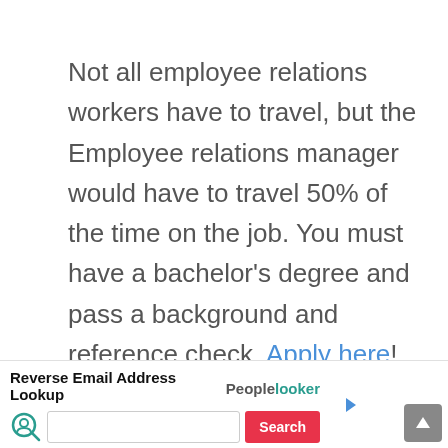Not all employee relations workers have to travel, but the Employee relations manager would have to travel 50% of the time on the job. You must have a bachelor's degree and pass a background and reference check. Apply here!
[Figure (screenshot): Advertisement banner for PeopleLooker Reverse Email Address Lookup with search input field and Search button]